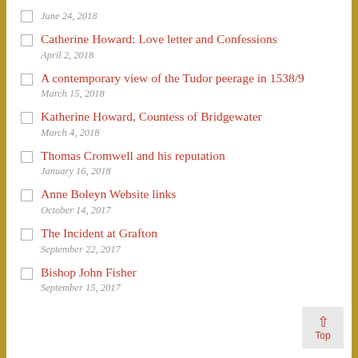June 24, 2018
Catherine Howard: Love letter and Confessions
April 2, 2018
A contemporary view of the Tudor peerage in 1538/9
March 15, 2018
Katherine Howard, Countess of Bridgewater
March 4, 2018
Thomas Cromwell and his reputation
January 16, 2018
Anne Boleyn Website links
October 14, 2017
The Incident at Grafton
September 22, 2017
Bishop John Fisher
September 15, 2017